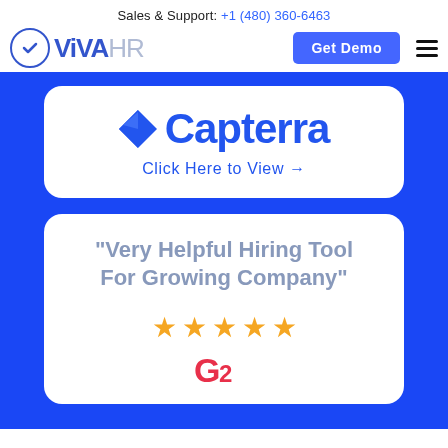Sales & Support: +1 (480) 360-6463
[Figure (logo): ViVA HR logo with circle checkmark icon, Get Demo button, and hamburger menu]
[Figure (logo): Capterra logo with blue arrow and wordmark, with 'Click Here to View →' link]
"Very Helpful Hiring Tool For Growing Company"
[Figure (other): Five gold/orange star rating icons]
[Figure (logo): G2 logo partial]